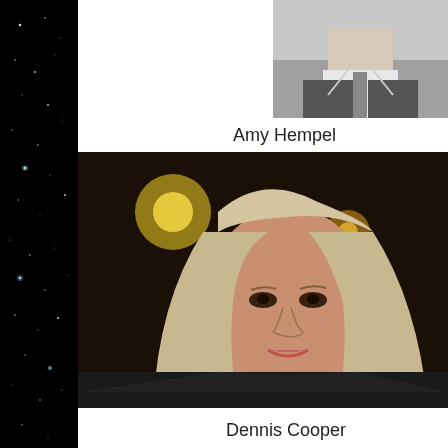[Figure (photo): Black and white photo of a person in a suit, partially visible, showing neck and lower face]
Amy Hempel
[Figure (photo): Color photo of Amy Hempel, a woman with long blonde/grey hair, smiling, against a dark background with bokeh lights]
Dennis Cooper